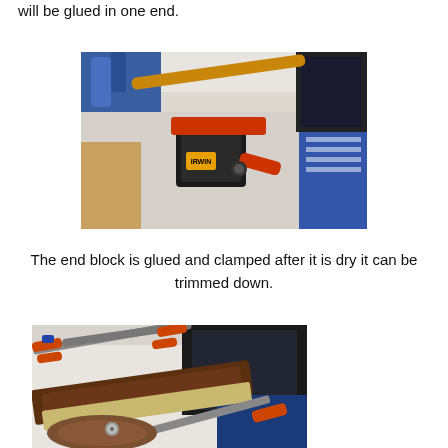will be glued in one end.
[Figure (photo): A red and black bar clamp clamping a piece of wood or material on a white workbench surface, with a blue clamp visible in the background.]
The end block is glued and clamped after it is dry it can be trimmed down.
[Figure (photo): Wooden boards being clamped with orange-handled bar clamps on a white workbench, with a rounded wooden piece and screwdriver visible in the foreground.]